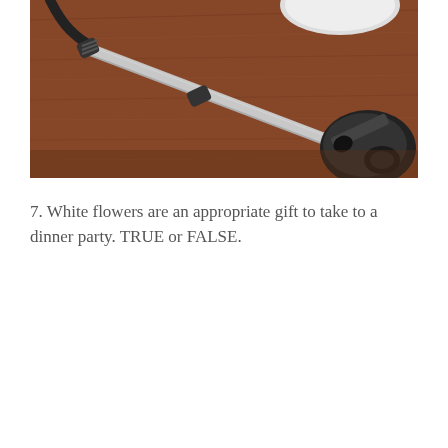[Figure (photo): Overhead view of a vacuum cleaner hose and attachment on a brown/rust-colored carpet. The vacuum has a gray wand, black connectors, and a black floor attachment head visible at the right side of the image.]
7. White flowers are an appropriate gift to take to a dinner party. TRUE or FALSE.